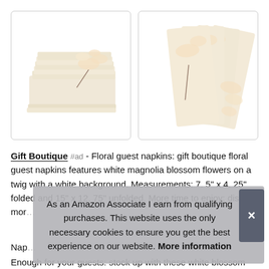[Figure (photo): Stack of folded white floral guest napkins with magnolia blossom design on a white background]
[Figure (photo): Fanned out set of white floral guest napkins displaying the magnolia blossom print pattern, shown from front]
Gift Boutique #ad - Floral guest napkins: gift boutique floral guest napkins features white magnolia blossom flowers on a twig with a white background. Measurements: 7. 5" x 4. 25" folded and 15" x 12. 75" unfolded. More time to enjoy: disp... mor...
Nap...
Enough for your guests: stock up with these white blossom
As an Amazon Associate I earn from qualifying purchases. This website uses the only necessary cookies to ensure you get the best experience on our website. More information